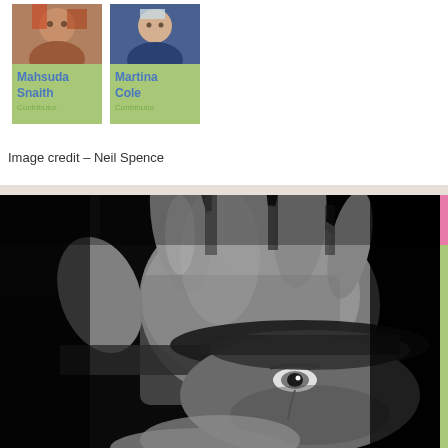[Figure (photo): Two author profile cards side by side. Left card: Mahsuda Snaith with photo. Right card: Martina Cole with photo. Both have green name backgrounds with blue names.]
Image credit – Neil Spence
[Figure (photo): Black and white photograph of a man holding his hand up toward the camera, partially obscuring his face. One eye visible through fingers. Dark dramatic background.]